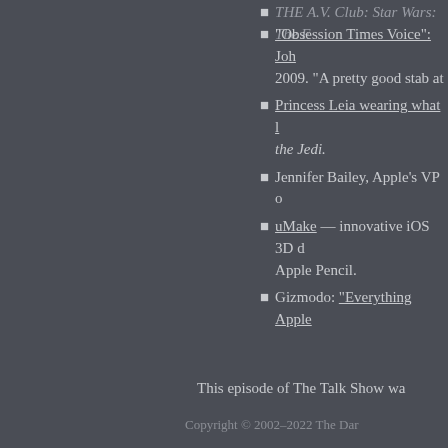"Obsession Times Voice": Joh 2009. "A pretty good stab at
Princess Leia wearing what l the Jedi.
Jennifer Bailey, Apple's VP o
uMake — innovative iOS 3D c Apple Pencil.
Gizmodo: "Everything Apple
This episode of The Talk Show wa
Copyright © 2002–2022 The Dar